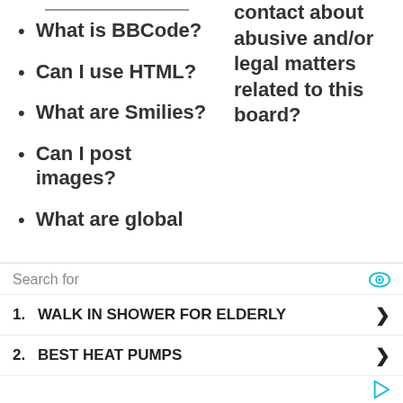What is BBCode?
contact about abusive and/or legal matters related to this board?
Can I use HTML?
What are Smilies?
Can I post images?
What are global
Search for
WALK IN SHOWER FOR ELDERLY
BEST HEAT PUMPS